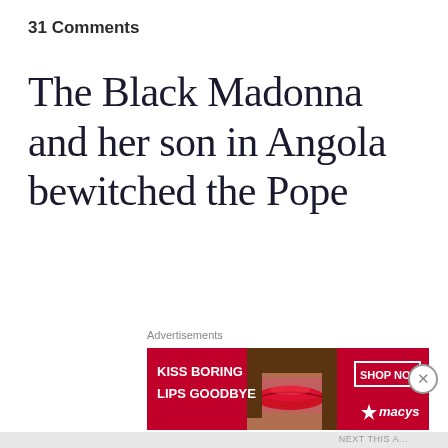31 Comments
The Black Madonna and her son in Angola bewitched the Pope
The Catholic Church claims gospel writer Luke painted her. She is venerated in Poland, in Haiti and within Voodoo. The late Pope bowed down to her son in Angola. One of the more famous of this black
Advertisements
[Figure (photo): Advertisement banner for Macy's lip product: 'KISS BORING LIPS GOODBYE' with a SHOP NOW button and Macy's star logo, featuring a photo of a woman's lips]